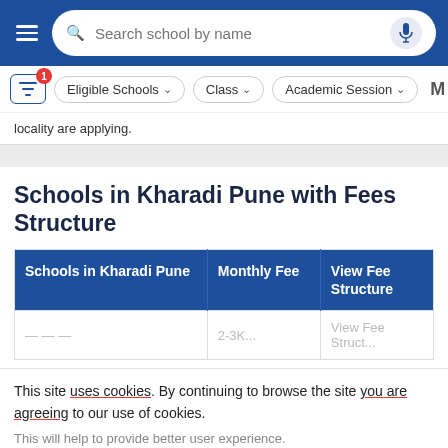Search school by name
locality are applying.
Schools in Kharadi Pune with Fees Structure
| Schools in Kharadi Pune | Monthly Fee | View Fee Structure |
| --- | --- | --- |
This site uses cookies. By continuing to browse the site you are agreeing to our use of cookies.
This will help to provide better user experience.